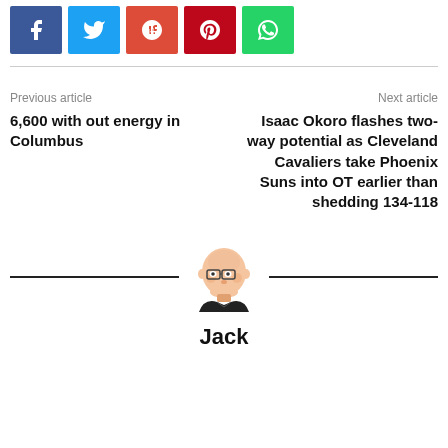[Figure (other): Social share buttons: Facebook (blue), Twitter (cyan), Google+ (red), Pinterest (dark red), WhatsApp (green)]
Previous article
Next article
6,600 with out energy in Columbus
Isaac Okoro flashes two-way potential as Cleveland Cavaliers take Phoenix Suns into OT earlier than shedding 134-118
[Figure (illustration): Cartoon avatar of a bald man with glasses wearing a dark shirt - author Jack]
Jack